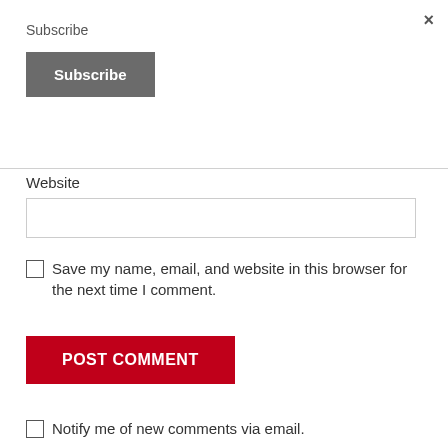×
Subscribe
Subscribe
Website
Save my name, email, and website in this browser for the next time I comment.
POST COMMENT
Notify me of new comments via email.